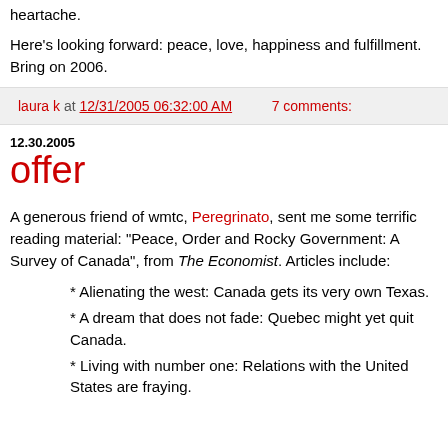heartache.
Here's looking forward: peace, love, happiness and fulfillment. Bring on 2006.
laura k at 12/31/2005 06:32:00 AM   7 comments:
12.30.2005
offer
A generous friend of wmtc, Peregrinato, sent me some terrific reading material: "Peace, Order and Rocky Government: A Survey of Canada", from The Economist. Articles include:
* Alienating the west: Canada gets its very own Texas.
* A dream that does not fade: Quebec might yet quit Canada.
* Living with number one: Relations with the United States are fraying.